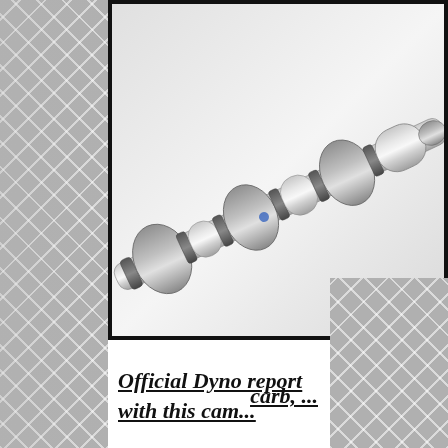[Figure (photo): Close-up photograph of a polished metal camshaft with multiple lobes and journals, shown diagonally against a white/light grey background, inside a black-bordered box]
Official Dyno report with this cam... carb, ...